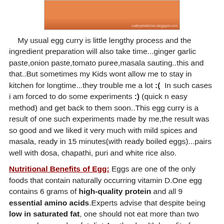[Figure (photo): Photo of egg curry in a bowl, orange/red curry sauce visible, with blog watermark text]
My usual egg curry is little lengthy process and the ingredient preparation will also take some time...ginger garlic paste,onion paste,tomato puree,masala sauting..this and that..But sometimes my Kids wont allow me to stay in kitchen for longtime...they trouble me a lot :( In such cases i am forced to do some experiments :) (quick n easy method) and get back to them soon..This egg curry is a result of one such experiments made by me,the result was so good and we liked it very much with mild spices and masala, ready in 15 minutes(with ready boiled eggs)...pairs well with dosa, chapathi, puri and white rice also.
Nutritional Benefits of Egg: Eggs are one of the only foods that contain naturally occurring vitamin D.One egg contains 6 grams of high-quality protein and all 9 essential amino acids.Experts advise that despite being low in saturated fat, one should not eat more than two eggs a day on a low-fat diet.Another health benefit of eggs is their contribution to the diet as a source of choline. Choline is definitely a